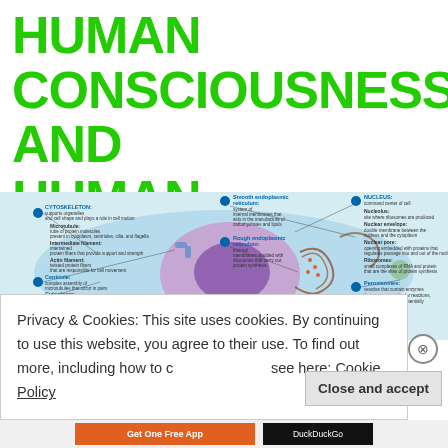HUMAN CONSCIOUSNESS AND HUMAN FREEDOM:
[Figure (illustration): Detailed labeled diagram of an animal cell showing components including cytoskeleton, microtubule, intermediate filament, actin filament, centriole, cytoplasm, mitochondrion, smooth endoplasmic reticulum, rough endoplasmic reticulum, nucleus, nucleolus, nuclear envelope, nuclear pore, ribosomes, and peroxisomes. The nucleus is prominently shown in purple in the center.]
Privacy & Cookies: This site uses cookies. By continuing to use this website, you agree to their use. To find out more, including how to control cookies, see here: Cookie Policy
Close and accept